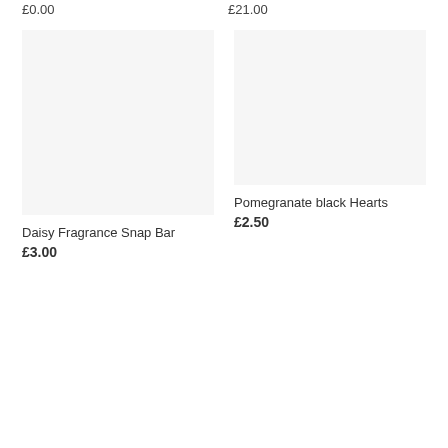£0.00
£21.00
[Figure (photo): Product image placeholder for Daisy Fragrance Snap Bar — light grey rectangle]
Daisy Fragrance Snap Bar
£3.00
[Figure (photo): Product image placeholder for Pomegranate black Hearts — light grey rectangle]
Pomegranate black Hearts
£2.50